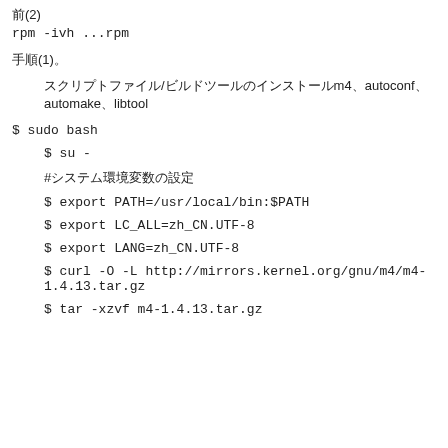前(2)
rpm -ivh ...rpm
手順(1)。
スクリプトファイル/ビルドツールのインストールm4、autoconf、automake、libtool
$ sudo bash
$ su -
#システム環境変数の設定
$ export PATH=/usr/local/bin:$PATH
$ export LC_ALL=zh_CN.UTF-8
$ export LANG=zh_CN.UTF-8
$ curl -O -L http://mirrors.kernel.org/gnu/m4/m4-1.4.13.tar.gz
$ tar -xzvf m4-1.4.13.tar.gz